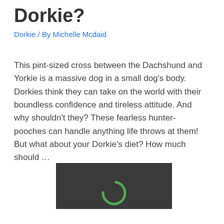Dorkie?
Dorkie / By Michelle Mcdaid
This pint-sized cross between the Dachshund and Yorkie is a massive dog in a small dog's body. Dorkies think they can take on the world with their boundless confidence and tireless attitude. And why shouldn't they? These fearless hunter-pooches can handle anything life throws at them! But what about your Dorkie's diet? How much should …
[Figure (screenshot): A dark thumbnail image showing a loading spinner icon (green circular arc) indicating a video player loading screen]